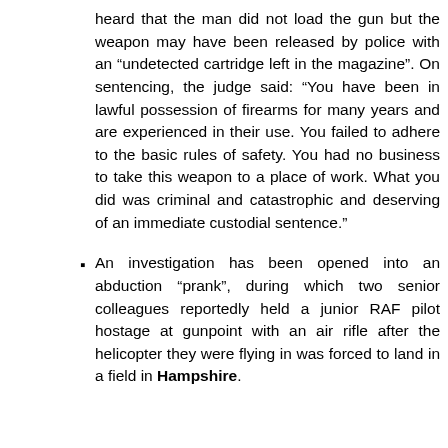heard that the man did not load the gun but the weapon may have been released by police with an “undetected cartridge left in the magazine”. On sentencing, the judge said: “You have been in lawful possession of firearms for many years and are experienced in their use. You failed to adhere to the basic rules of safety. You had no business to take this weapon to a place of work. What you did was criminal and catastrophic and deserving of an immediate custodial sentence.”
An investigation has been opened into an abduction “prank”, during which two senior colleagues reportedly held a junior RAF pilot hostage at gunpoint with an air rifle after the helicopter they were flying in was forced to land in a field in Hampshire.